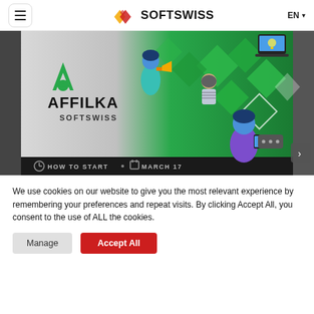SOFTSWISS — EN
[Figure (screenshot): Affilka by SOFTSWISS promotional banner featuring illustrated characters with megaphone, laptop, and diamond shapes on green background. Bottom bar shows HOW TO START • MARCH 17]
We use cookies on our website to give you the most relevant experience by remembering your preferences and repeat visits. By clicking Accept All, you consent to the use of ALL the cookies.
Manage
Accept All